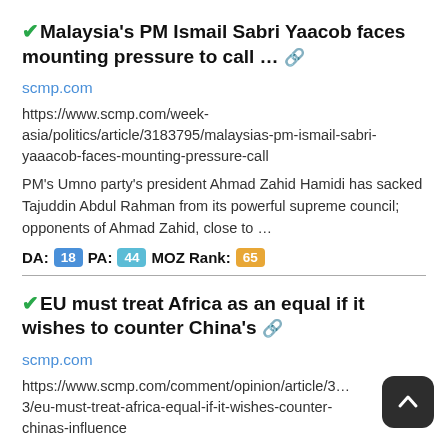✔Malaysia's PM Ismail Sabri Yaacob faces mounting pressure to call … 🔗
scmp.com
https://www.scmp.com/week-asia/politics/article/3183795/malaysias-pm-ismail-sabri-yaaacob-faces-mounting-pressure-call
PM's Umno party's president Ahmad Zahid Hamidi has sacked Tajuddin Abdul Rahman from its powerful supreme council; opponents of Ahmad Zahid, close to …
DA: 18  PA: 44  MOZ Rank: 65
✔EU must treat Africa as an equal if it wishes to counter China's 🔗
scmp.com
https://www.scmp.com/comment/opinion/article/3…3/eu-must-treat-africa-equal-if-it-wishes-counter-chinas-influence
Unlike Brussels, Beijing does not see Africa as a